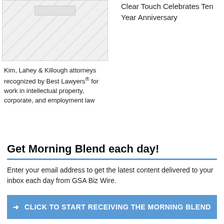[Figure (illustration): Placeholder image with diagonal hatching pattern and a small rectangle at top center]
Clear Touch Celebrates Ten Year Anniversary
Kim, Lahey & Killough attorneys recognized by Best Lawyers® for work in intellectual property, corporate, and employment law
Get Morning Blend each day!
Enter your email address to get the latest content delivered to your inbox each day from GSA Biz Wire.
➜ CLICK TO START RECEIVING THE MORNING BLEND